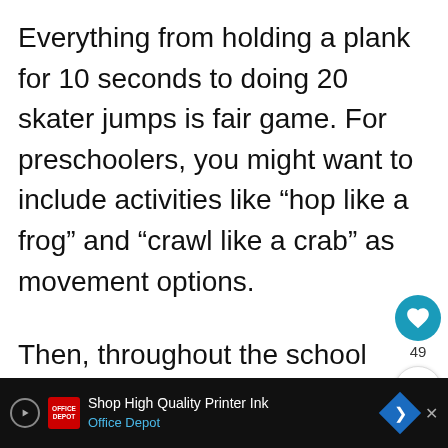Everything from holding a plank for 10 seconds to doing 20 skater jumps is fair game. For preschoolers, you might want to include activities like “hop like a frog” and “crawl like a crab” as movement options.
Then, throughout the school day, your kids take turns choosing one movement stick to complete.
You can use the last 10 minutes of every h...o
[Figure (screenshot): UI overlay with heart/like button showing count 49 and share button]
[Figure (screenshot): What's Next promo thumbnail: Fun St. Patrick's Da...]
Shop High Quality Printer Ink Office Depot